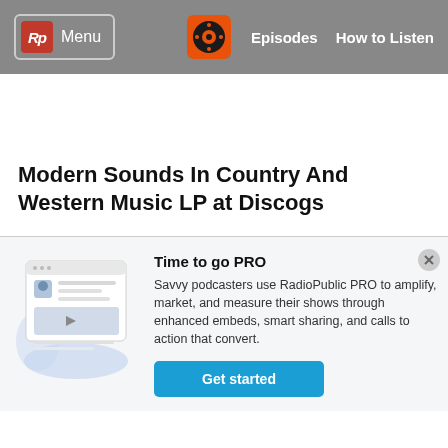Rp Menu | Episodes | How to Listen
Modern Sounds In Country And Western Music LP at Discogs
Time to go PRO
Savvy podcasters use RadioPublic PRO to amplify, market, and measure their shows through enhanced embeds, smart sharing, and calls to action that convert.
Get started